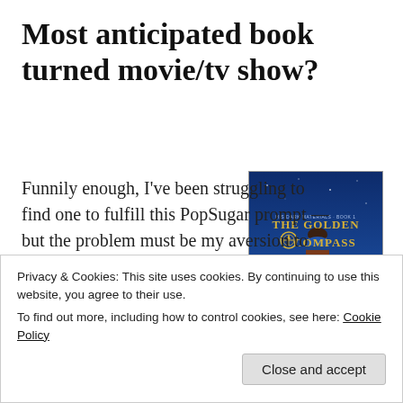Most anticipated book turned movie/tv show?
[Figure (illustration): Book cover of The Golden Compass by Philip Pullman – His Dark Materials Book 1. Features a girl in winter clothing and a large white polar bear on a blue background.]
Funnily enough, I've been struggling to find one to fulfill this PopSugar prompt — but the problem must be my aversion to using rereads for reading challenges, because 2019 is bringing us adaptations of Artemis Fowl (though I don't know whether I trust Disney...
Privacy & Cookies: This site uses cookies. By continuing to use this website, you agree to their use.
To find out more, including how to control cookies, see here: Cookie Policy
Close and accept